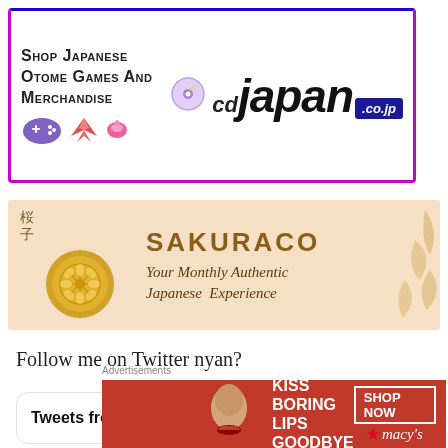[Figure (illustration): CDJapan advertisement banner with border. Text reads 'Shop Japanese Otome Games and Merchandise' with game controller and origami crane icons, and the CDJapan logo with 'cd' in italic and 'japan' in large bold text with '.co.jp' in a navy badge.]
[Figure (illustration): Sakuraco advertisement banner with peach background. Shows Japanese kanji '桜子', a golden citrus flower emblem circle, text 'SAKURACO' in large gold letters, and subtitle 'Your Monthly Authentic Japanese Experience' in italic.]
Follow me on Twitter nyan?
[Figure (screenshot): Twitter/X widget box showing 'Tweets from @chlorokitty' with a Follow button (black rounded rectangle).]
Advertisements
[Figure (illustration): Macy's advertisement banner with red background. Left side shows a woman's face with red lips. Text reads 'KISS BORING LIPS GOODBYE' and right side shows 'SHOP NOW' in a box with the Macy's star logo.]